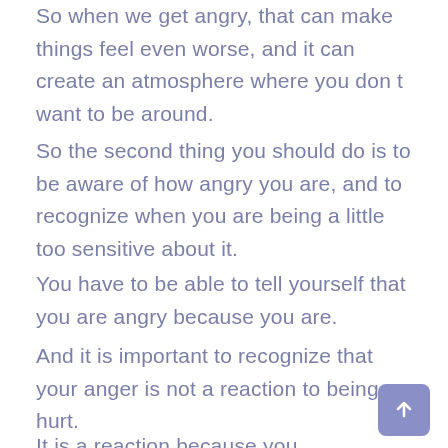So when we get angry, that can make things feel even worse, and it can create an atmosphere where you don t want to be around.
So the second thing you should do is to be aware of how angry you are, and to recognize when you are being a little too sensitive about it.
You have to be able to tell yourself that you are angry because you are.
And it is important to recognize that your anger is not a reaction to being hurt.
It is a reaction because you